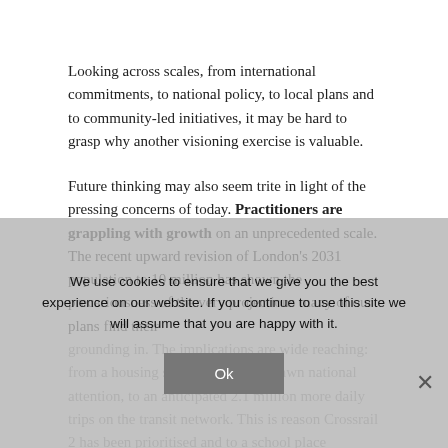Looking across scales, from international commitments, to national policy, to local plans and to community-led initiatives, it may be hard to grasp why another visioning exercise is valuable.
Future thinking may also seem trite in light of the pressing concerns of today. Practitioners are grappling with growth on an unprecedented scale. The recent upward revision of London's 2031 population to 10 million has shown the precariousness of the very projections many of our plans find their grounding in. The implications are wide reaching: from a housing shortage that has drawn national attention, to an anticipated 2.1 million more daily trips on the transit network. This is reason Crossrail 2 has been prioritised and to a school place shortage of 116,000 estimated as 2016.
We use cookies to ensure that we give you the best experience on our website. If you continue to use this site we will assume that you are happy with it.